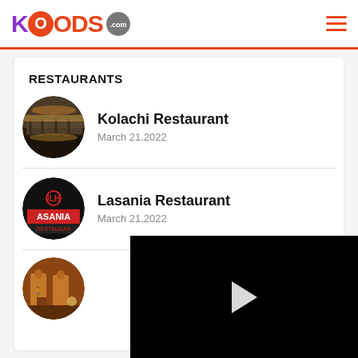KFOODS.com
RESTAURANTS
Kolachi Restaurant
March 21,2022
Lasania Restaurant
March 21,2022
[Figure (other): Partially visible third restaurant thumbnail with arch/brick building, overlapped by a video player overlay showing a black screen with a white play button]
[Figure (screenshot): Black video player overlay with white triangular play button in center]